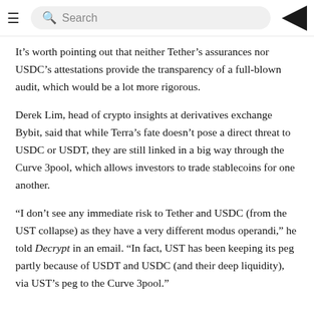≡  Search  <
It's worth pointing out that neither Tether's assurances nor USDC's attestations provide the transparency of a full-blown audit, which would be a lot more rigorous.
Derek Lim, head of crypto insights at derivatives exchange Bybit, said that while Terra's fate doesn't pose a direct threat to USDC or USDT, they are still linked in a big way through the Curve 3pool, which allows investors to trade stablecoins for one another.
“I don't see any immediate risk to Tether and USDC (from the UST collapse) as they have a very different modus operandi,” he told Decrypt in an email. “In fact, UST has been keeping its peg partly because of USDT and USDC (and their deep liquidity), via UST's peg to the Curve 3pool.”